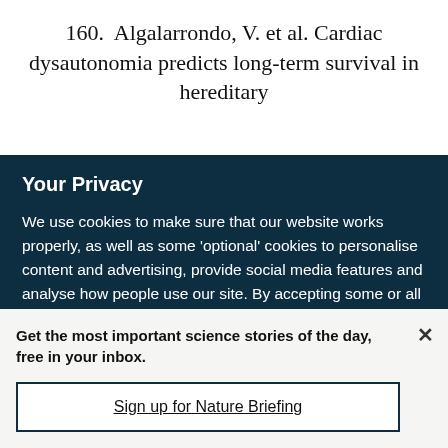160.  Algalarrondo, V. et al. Cardiac dysautonomia predicts long-term survival in hereditary
Your Privacy
We use cookies to make sure that our website works properly, as well as some 'optional' cookies to personalise content and advertising, provide social media features and analyse how people use our site. By accepting some or all optional cookies you give consent to the processing of your personal data, including transfer to third parties, some in countries outside of the European Economic Area that do not offer the same data protection standards as the country where you live. You can decide which optional cookies to accept by clicking on 'Manage Settings', where you can
Get the most important science stories of the day, free in your inbox.
Sign up for Nature Briefing